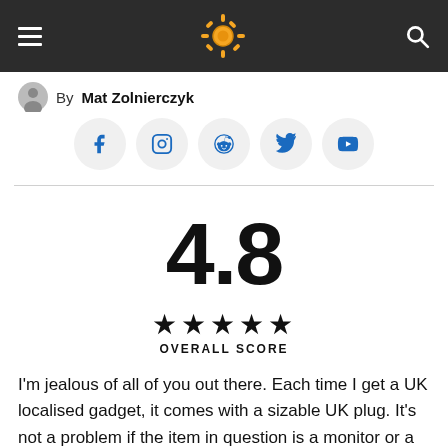≡  [gear logo]  🔍
By Mat Zolnierczyk
[Figure (infographic): Social media icon buttons: Facebook, Instagram, Reddit, Twitter, YouTube]
4.8
★★★★★ OVERALL SCORE
I'm jealous of all of you out there. Each time I get a UK localised gadget, it comes with a sizable UK plug. It's not a problem if the item in question is a monitor or a vacuum cleaner, but when it comes to portable gadgets or Anker